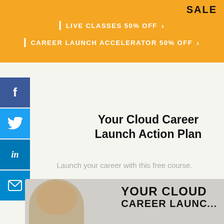SALE
LIVE CLASSES 50% OFF >
CAREER LAUNCH ACCELERATOR 50% OFF >
Your Cloud Career Launch Action Plan
Launch your career with this free course.
[Figure (photo): Preview image of the Cloud Career Launch course, showing a man and bold text 'YOUR CLOUD CAREER LAUNCH']